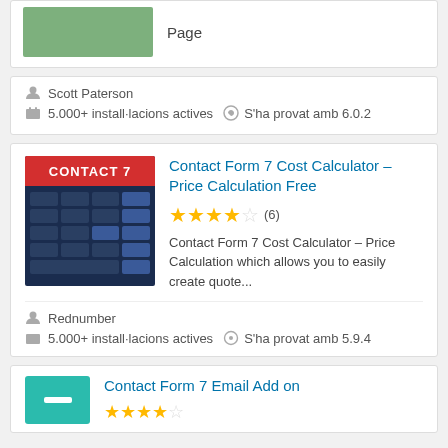[Figure (screenshot): Top card showing green plugin thumbnail and 'Page' text label on right]
Scott Paterson
5.000+ installacions actives   S'ha provat amb 6.0.2
[Figure (screenshot): Contact 7 Cost Calculator plugin thumbnail with red banner and dark blue calculator grid]
Contact Form 7 Cost Calculator – Price Calculation Free
(6) rating: 3.5 stars
Contact Form 7 Cost Calculator – Price Calculation which allows you to easily create quote...
Rednumber
5.000+ installacions actives   S'ha provat amb 5.9.4
Contact Form 7 Email Add on